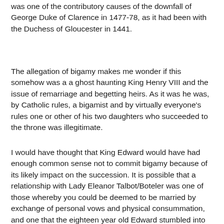was one of the contributory causes of the downfall of George Duke of Clarence in 1477-78, as it had been with the Duchess of Gloucester in 1441.
The allegation of bigamy makes me wonder if this somehow was a a ghost haunting King Henry VIII and the issue of remarriage and begetting heirs. As it was he was, by Catholic rules, a bigamist and by virtually everyone's rules one or other of his two daughters who succeeded to the throne was illegitimate.
I would have thought that King Edward would have had enough common sense not to commit bigamy because of its likely impact on the succession. It is possible that a relationship with Lady Eleanor Talbot/Boteler was one of those whereby you could be deemed to be married by exchange of personal vows and physical consummation, and one that the eighteen year old Edward stumbled into thinking he was merely having an affair, and which came back to haunt his family. Both Lady Eleanor and his recognised wife the former Lady Grey show distinct similarities in their social and political positions. Did the young King have a penchant